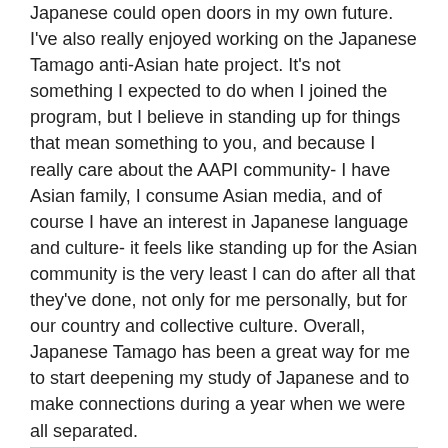Japanese could open doors in my own future. I've also really enjoyed working on the Japanese Tamago anti-Asian hate project. It's not something I expected to do when I joined the program, but I believe in standing up for things that mean something to you, and because I really care about the AAPI community- I have Asian family, I consume Asian media, and of course I have an interest in Japanese language and culture- it feels like standing up for the Asian community is the very least I can do after all that they've done, not only for me personally, but for our country and collective culture. Overall, Japanese Tamago has been a great way for me to start deepening my study of Japanese and to make connections during a year when we were all separated.